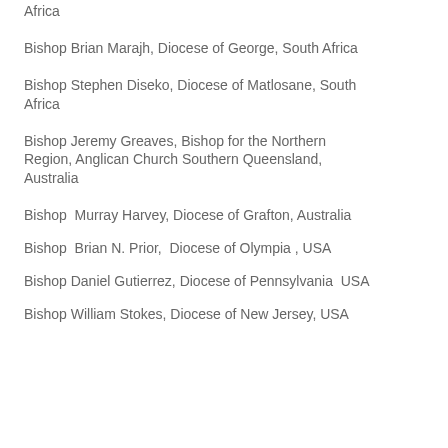Africa
Bishop Brian Marajh, Diocese of George, South Africa
Bishop Stephen Diseko, Diocese of Matlosane, South Africa
Bishop Jeremy Greaves, Bishop for the Northern Region, Anglican Church Southern Queensland, Australia
Bishop  Murray Harvey, Diocese of Grafton, Australia
Bishop  Brian N. Prior,  Diocese of Olympia , USA
Bishop Daniel Gutierrez, Diocese of Pennsylvania  USA
Bishop William Stokes, Diocese of New Jersey, USA